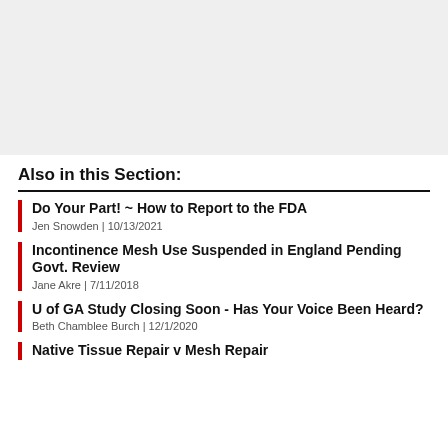[Figure (other): Placeholder image area, light gray background]
Also in this Section:
Do Your Part! ~ How to Report to the FDA | Jen Snowden | 10/13/2021
Incontinence Mesh Use Suspended in England Pending Govt. Review | Jane Akre | 7/11/2018
U of GA Study Closing Soon - Has Your Voice Been Heard? | Beth Chamblee Burch | 12/1/2020
Native Tissue Repair v Mesh Repair